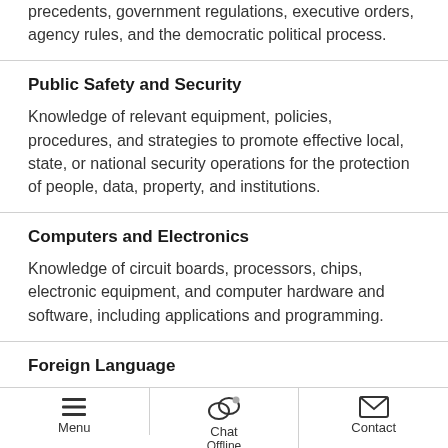precedents, government regulations, executive orders, agency rules, and the democratic political process.
Public Safety and Security
Knowledge of relevant equipment, policies, procedures, and strategies to promote effective local, state, or national security operations for the protection of people, data, property, and institutions.
Computers and Electronics
Knowledge of circuit boards, processors, chips, electronic equipment, and computer hardware and software, including applications and programming.
Foreign Language
Knowledge of the structure and content of a foreign
Menu | Chat Offline | Contact